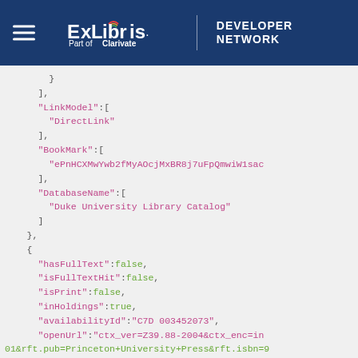[Figure (logo): ExLibris Part of Clarivate | Developer Network logo on dark blue header with hamburger menu icon]
JSON code block showing LinkModel, BookMark, DatabaseName, hasFullText, isFullTextHit, isPrint, inHoldings, availabilityId, openUrl fields